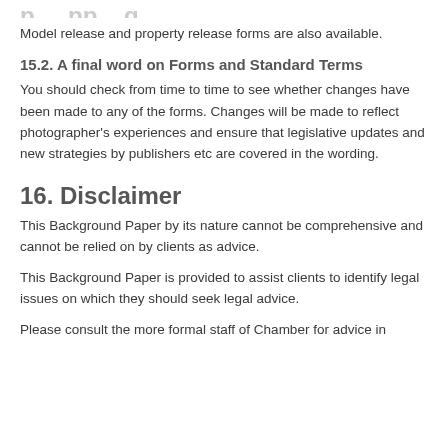Model release and property release forms are also available.
15.2. A final word on Forms and Standard Terms
You should check from time to time to see whether changes have been made to any of the forms. Changes will be made to reflect photographer's experiences and ensure that legislative updates and new strategies by publishers etc are covered in the wording.
16. Disclaimer
This Background Paper by its nature cannot be comprehensive and cannot be relied on by clients as advice.
This Background Paper is provided to assist clients to identify legal issues on which they should seek legal advice.
Please consult the more formal staff of Chamber for advice in